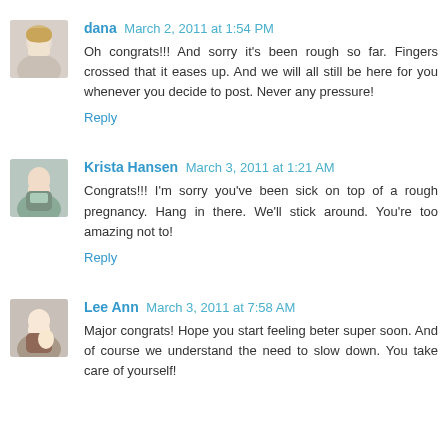dana March 2, 2011 at 1:54 PM
Oh congrats!!! And sorry it's been rough so far. Fingers crossed that it eases up. And we will all still be here for you whenever you decide to post. Never any pressure!
Reply
Krista Hansen March 3, 2011 at 1:21 AM
Congrats!!! I'm sorry you've been sick on top of a rough pregnancy. Hang in there. We'll stick around. You're too amazing not to!
Reply
Lee Ann March 3, 2011 at 7:58 AM
Major congrats! Hope you start feeling beter super soon. And of course we understand the need to slow down. You take care of yourself!